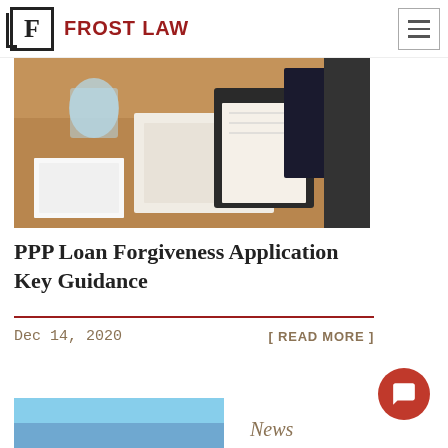FROST LAW
[Figure (photo): Close-up of a business desk with papers, clipboard, notebook, and glass of water on a wooden surface]
PPP Loan Forgiveness Application Key Guidance
Dec 14, 2020
[ READ MORE ]
[Figure (photo): Sky/outdoor photo, partially visible at bottom of page]
News